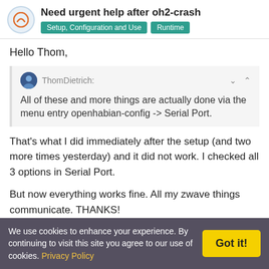Need urgent help after oh2-crash | Setup, Configuration and Use | Runtime
Hello Thom,
ThomDietrich: All of these and more things are actually done via the menu entry openhabian-config -> Serial Port.
That's what I did immediately after the setup (and two more times yesterday) and it did not work. I checked all 3 options in Serial Port.
But now everything works fine. All my zwave things communicate. THANKS!
We use cookies to enhance your experience. By continuing to visit this site you agree to our use of cookies. Privacy Policy